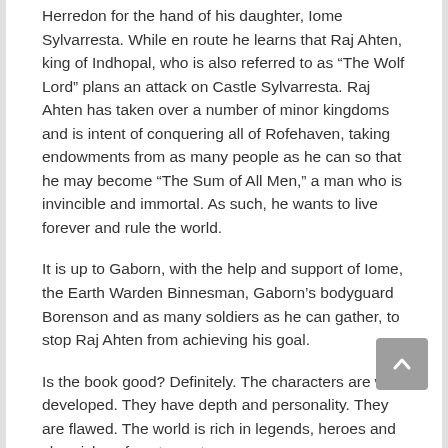Herredon for the hand of his daughter, Iome Sylvarresta. While en route he learns that Raj Ahten, king of Indhopal, who is also referred to as “The Wolf Lord” plans an attack on Castle Sylvarresta. Raj Ahten has taken over a number of minor kingdoms and is intent of conquering all of Rofehaven, taking endowments from as many people as he can so that he may become “The Sum of All Men,” a man who is invincible and immortal. As such, he wants to live forever and rule the world.
It is up to Gaborn, with the help and support of Iome, the Earth Warden Binnesman, Gaborn’s bodyguard Borenson and as many soldiers as he can gather, to stop Raj Ahten from achieving his goal.
Is the book good? Definitely. The characters are well developed. They have depth and personality. They are flawed. The world is rich in legends, heroes and chronicles of past events.